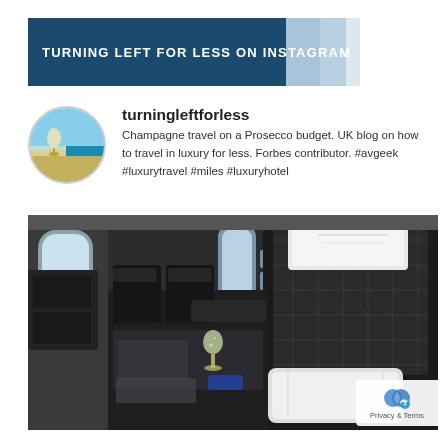TURNING LEFT FOR LESS ON INSTAGRAM
turningleftforless
Champagne travel on a Prosecco budget. UK blog on how to travel in luxury for less. Forbes contributor. #avgeek #luxurytravel #miles #luxuryhotel
[Figure (photo): Business class airplane seat interior with dark leather quilted seat, white pillow and headrest cover, champagne glass on the center console tray, window view, and overhead storage.]